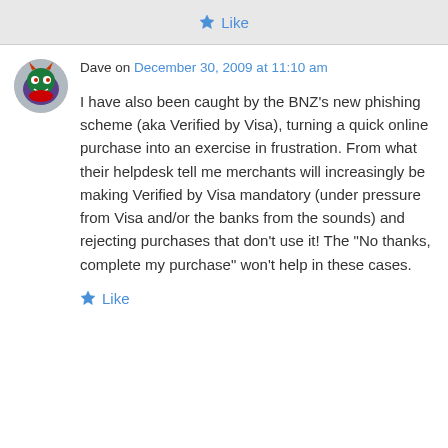Like
Dave on December 30, 2009 at 11:10 am
I have also been caught by the BNZ’s new phishing scheme (aka Verified by Visa), turning a quick online purchase into an exercise in frustration. From what their helpdesk tell me merchants will increasingly be making Verified by Visa mandatory (under pressure from Visa and/or the banks from the sounds) and rejecting purchases that don’t use it! The “No thanks, complete my purchase” won’t help in these cases.
Like